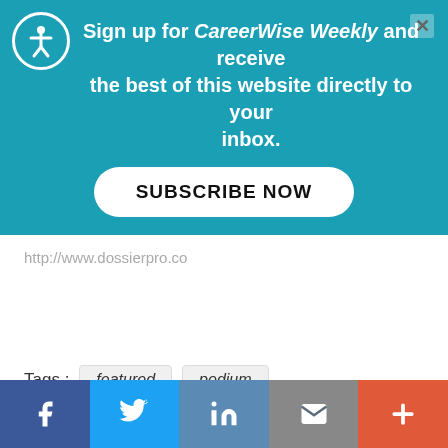[Figure (infographic): Newsletter signup banner with teal background, accessibility icon, close button, promotional text for CareerWise Weekly newsletter, and Subscribe Now button]
http://www.dossierpro.co
Tags : featured podium
CareerWise Comment Policy
Please read our Comment Policy before commenting.
[Figure (infographic): Social media share bar at bottom with Facebook, Twitter, LinkedIn, Email, and More buttons]